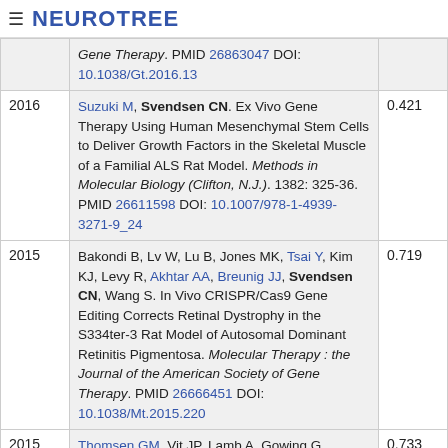≡ NEUROTREE
| Year | Reference | Score |
| --- | --- | --- |
|  | Gene Therapy. PMID 26863047 DOI: 10.1038/Gt.2016.13 |  |
| 2016 | Suzuki M, Svendsen CN. Ex Vivo Gene Therapy Using Human Mesenchymal Stem Cells to Deliver Growth Factors in the Skeletal Muscle of a Familial ALS Rat Model. Methods in Molecular Biology (Clifton, N.J.). 1382: 325-36. PMID 26611598 DOI: 10.1007/978-1-4939-3271-9_24 | 0.421 |
| 2015 | Bakondi B, Lv W, Lu B, Jones MK, Tsai Y, Kim KJ, Levy R, Akhtar AA, Breunig JJ, Svendsen CN, Wang S. In Vivo CRISPR/Cas9 Gene Editing Corrects Retinal Dystrophy in the S334ter-3 Rat Model of Autosomal Dominant Retinitis Pigmentosa. Molecular Therapy : the Journal of the American Society of Gene Therapy. PMID 26666451 DOI: 10.1038/Mt.2015.220 | 0.719 |
| 2015 | Thomsen GM, Vit JP, Lamb A, Gowing G, Shelest O, Alkaslasi M, Ley EJ, Svendsen CN. Acute... | 0.733 |